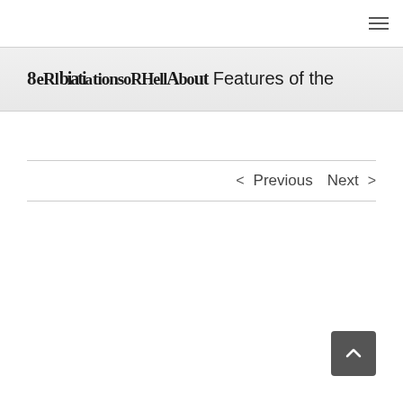≡ (hamburger menu icon)
8 Relations of H. H. About Features of the
< Previous   Next >
[Figure (other): Back to top arrow button (dark grey rounded square with upward chevron)]